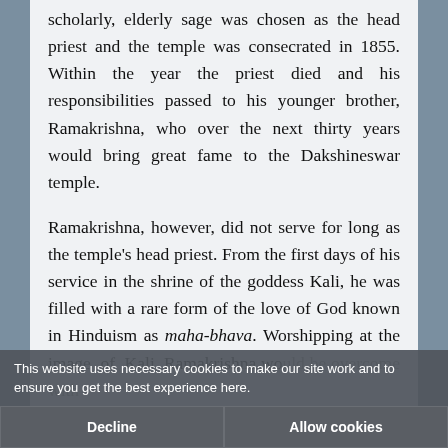scholarly, elderly sage was chosen as the head priest and the temple was consecrated in 1855. Within the year the priest died and his responsibilities passed to his younger brother, Ramakrishna, who over the next thirty years would bring great fame to the Dakshineswar temple.

Ramakrishna, however, did not serve for long as the temple's head priest. From the first days of his service in the shrine of the goddess Kali, he was filled with a rare form of the love of God known in Hinduism as maha-bhava. Worshipping at the image of Kali, Ramakrishna would be overcome with such ecstatic love for the deity that he would fall to the ground, immersed in
This website uses necessary cookies to make our site work and to ensure you get the best experience here.